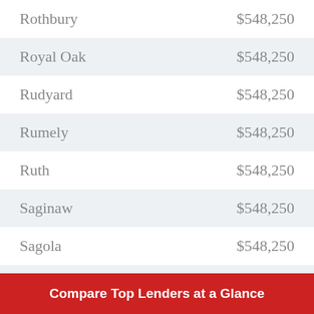| Rothbury | $548,250 |
| Royal Oak | $548,250 |
| Rudyard | $548,250 |
| Rumely | $548,250 |
| Ruth | $548,250 |
| Saginaw | $548,250 |
| Sagola | $548,250 |
| Saint Charles | $548,250 |
| Saint Clair | $548,250 |
| Saint Clair Shores | $548,250 |
Compare Top Lenders at a Glance